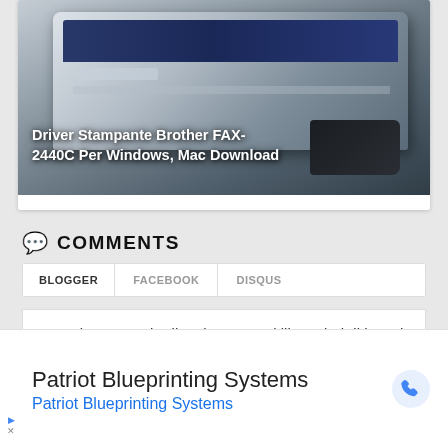[Figure (photo): Photo of a Brother FAX-2440C fax/printer machine, gray and black device, shown from above at an angle. Overlaid bold white text reads: Driver Stampante Brother FAX-2440C Per Windows, Mac Download]
COMMENTS
BLOGGER  FACEBOOK  DISQUS
Agar dapat memberikan komentar, klik tombol di bawah untuk login dengan Google.
Patriot Blueprinting Systems
Patriot Blueprinting Systems